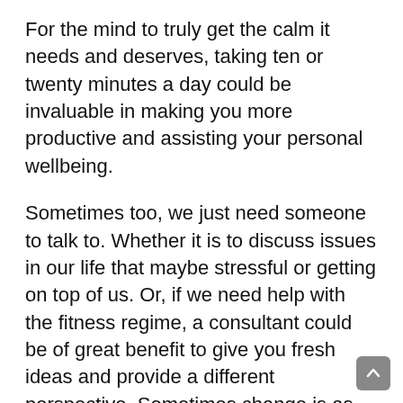For the mind to truly get the calm it needs and deserves, taking ten or twenty minutes a day could be invaluable in making you more productive and assisting your personal wellbeing.
Sometimes too, we just need someone to talk to. Whether it is to discuss issues in our life that maybe stressful or getting on top of us. Or, if we need help with the fitness regime, a consultant could be of great benefit to give you fresh ideas and provide a different perspective. Sometimes change is as good as rest, and can give us the boost we need to start feeling invigorated once again.
In a world where products and appearance are given precedence, it is important to take some time for